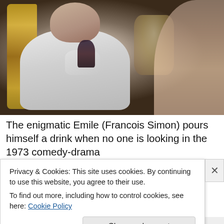[Figure (photo): A man in a white jacket and white gloves (Francois Simon as Emile) holds a dark wine glass up to inspect it, standing in front of a gold-framed mirror. A woman's back/hair is visible on the right side.]
The enigmatic Emile (Francois Simon) pours himself a drink when no one is looking in the 1973 comedy-drama
Privacy & Cookies: This site uses cookies. By continuing to use this website, you agree to their use.
To find out more, including how to control cookies, see here: Cookie Policy
Close and accept